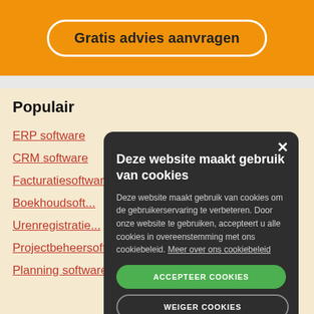[Figure (screenshot): Orange banner with button 'Gratis advies aanvragen' on orange background]
Populair
ERP software
CRM software
Facturatiesoftware
Boekhoudsoft...
Urenregistratie...
Projectbeheersoftware
Planning software
Deze website maakt gebruik van cookies
Deze website maakt gebruik van cookies om de gebruikerservaring te verbeteren. Door onze website te gebruiken, accepteert u alle cookies in overeenstemming met ons cookiebeleid. Meer over ons cookiebeleid
ACCEPTEER COOKIES
WEIGER COOKIES
TOON DETAILS